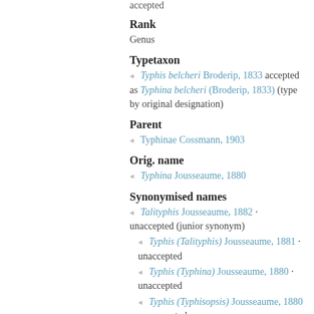accepted
Rank
Genus
Typetaxon
Typhis belcheri Broderip, 1833 accepted as Typhina belcheri (Broderip, 1833) (type by original designation)
Parent
Typhinae Cossmann, 1903
Orig. name
Typhina Jousseaume, 1880
Synonymised names
Talityphis Jousseaume, 1882 · unaccepted (junior synonym)
Typhis (Talityphis) Jousseaume, 1881 · unaccepted
Typhis (Typhina) Jousseaume, 1880 · unaccepted
Typhis (Typhisopsis) Jousseaume, 1880 · unaccepted
Typhisala Jousseaume, 1882 · unaccepted (junior synonym)
Typhisopsis Jousseaume, 1880 · unaccepted